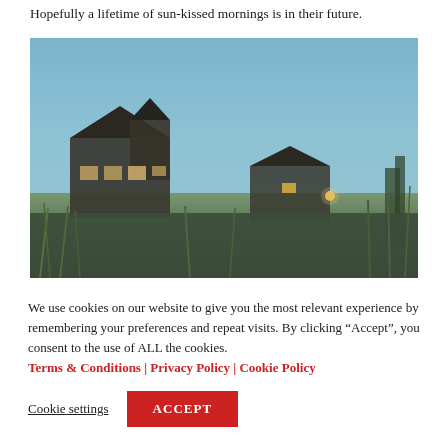Hopefully a lifetime of sun-kissed mornings is in their future.
[Figure (photo): A beachside house or resort photographed at dusk/twilight, with warm interior lights glowing, surrounded by beach grass in the foreground and a clear blue-gray sky above.]
We use cookies on our website to give you the most relevant experience by remembering your preferences and repeat visits. By clicking “Accept”, you consent to the use of ALL the cookies. Terms & Conditions | Privacy Policy | Cookie Policy
Cookie settings
ACCEPT